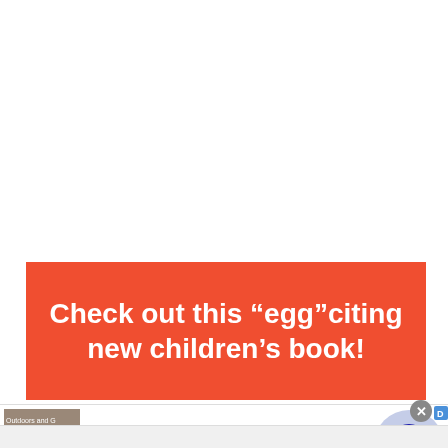[Figure (screenshot): Red banner advertisement with white bold text reading: Check out this "egg"citing new children's book!]
Frontgate SALES
up to 50% off
frontgate.com